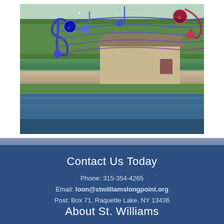[Figure (photo): Outdoor lakeside scene showing a rustic wooden building/lodge near the water, with green trees in background. Colorful metallic musical note sculptures (treble clef and notes in blue, purple, red tones with star decorations) overlaid across the top of the image.]
Contact Us Today
Phone: 315-354-4265
Email: loon@stwilliamslongpoint.org
Post: Box 71, Raquette Lake, NY 13436
About St. Williams